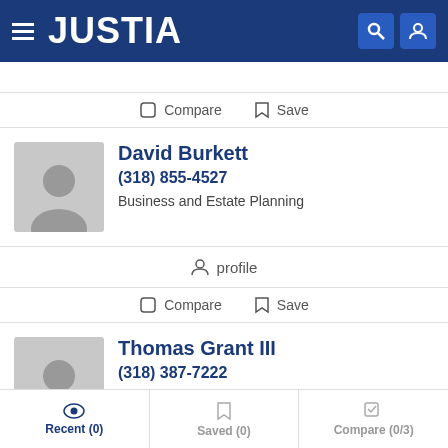JUSTIA
Compare   Save
David Burkett
(318) 855-4527
Business and Estate Planning
profile
Compare   Save
Thomas Grant III
(318) 387-7222
Business and Personal Injury
Recent (0)   Saved (0)   Compare (0/3)